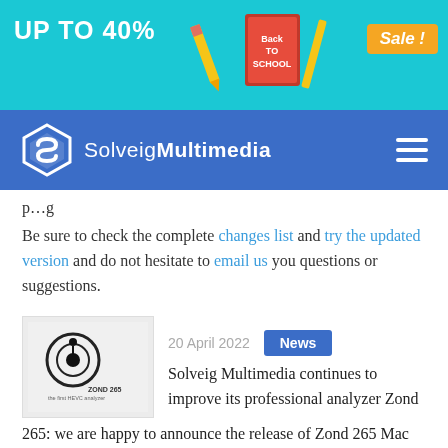[Figure (illustration): Back to School sale banner with teal background, 'UP TO 40%' text, back-to-school illustration with books and pencils, and 'Sale!' badge in orange]
[Figure (logo): SolveigMultimedia navigation bar with logo (white hexagonal S icon) and hamburger menu on blue background]
p...g
Be sure to check the complete changes list and try the updated version and do not hesitate to email us you questions or suggestions.
[Figure (logo): Zond 265 product logo - circular eye/target icon with ZOND 265 text below]
20 April 2022   News
Solveig Multimedia continues to improve its professional analyzer Zond 265: we are happy to announce the release of Zond 265 Mac OS version with AV1 codec support